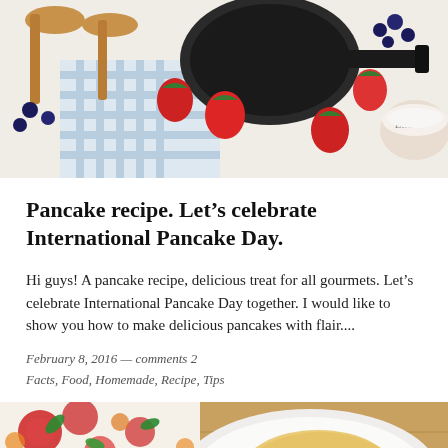[Figure (photo): Top-down view of pancake-making ingredients: frying pan, strawberries, blueberries, wooden spoons, checkered cloth, bowl with signature]
Pancake recipe. Let's celebrate International Pancake Day.
Hi guys! A pancake recipe, delicious treat for all gourmets. Let's celebrate International Pancake Day together. I would like to show you how to make delicious pancakes with flair....
February 8, 2016 — comments 2
Facts, Food, Homemade, Recipe, Tips
[Figure (photo): Plate with pancakes topped with melted cheese and a cherry tomato, alongside a colorful floral-patterned cloth napkin on a wooden surface]